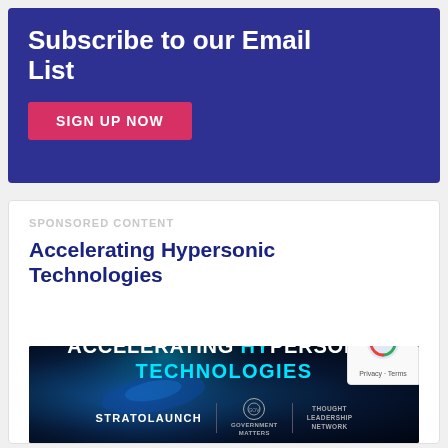Subscribe to our Email List
SIGN UP NOW
SPONSORED CONTENT
Accelerating Hypersonic Technologies
[Figure (photo): Dark promotional image with glowing blue hypersonic vehicle silhouette. Text reads: ACCELERATING HYPERSONIC TECHNOLOGIES. Logos for STRATOLAUNCH, GOVERNMENT MATTERS, and THOUGHT LEADERSHIP NETWORK at bottom.]